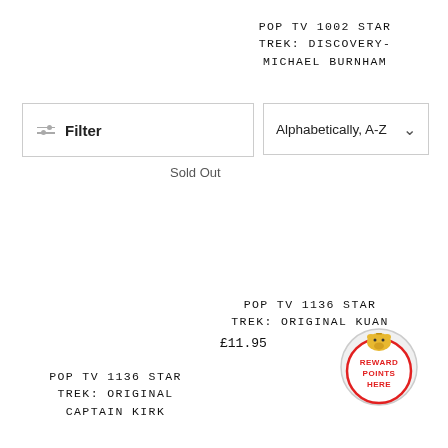POP TV 1002 STAR TREK: DISCOVERY- MICHAEL BURNHAM
Filter
Alphabetically, A-Z
Sold Out
POP TV 1136 STAR TREK: ORIGINAL KUAN
£11.95
[Figure (illustration): Reward Points Here badge with pig icon, red circular border, text REWARD POINTS HERE]
POP TV 1136 STAR TREK: ORIGINAL CAPTAIN KIRK